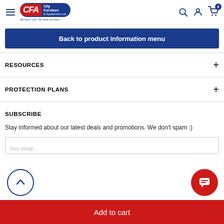[Figure (logo): City Furniture & Appliances Ltd. logo with hamburger menu icon on the left and search, account, cart icons on the right in the header]
Back to product information menu
RESOURCES
PROTECTION PLANS
SUBSCRIBE
Stay informed about our latest deals and promotions. We don't spam :)
Add to cart